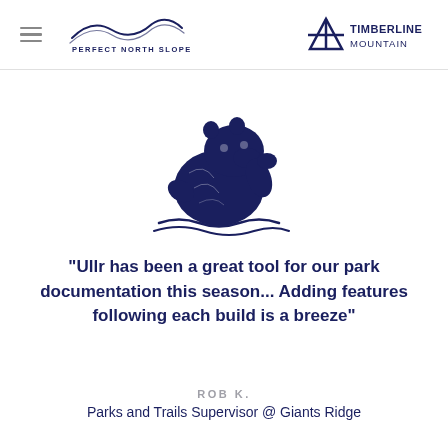Perfect North Slopes | Timberline Mountain
[Figure (logo): Dark navy bear/wolverine illustration logo for Ullr app or similar ski park documentation tool]
"Ullr has been a great tool for our park documentation this season... Adding features following each build is a breeze"
ROB K.
Parks and Trails Supervisor @ Giants Ridge